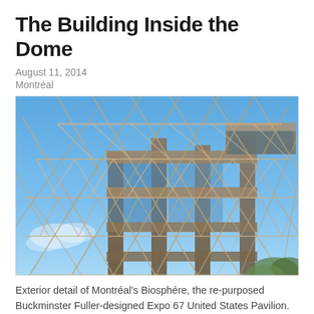The Building Inside the Dome
August 11, 2014
Montréal
[Figure (photo): Exterior detail of the Montréal Biosphère geodesic dome structure, showing the steel triangular lattice framework against a blue sky with a multi-story building structure visible inside the dome.]
Exterior detail of Montréal's Biosphére, the re-purposed Buckminster Fuller-designed Expo 67 United States Pavilion.